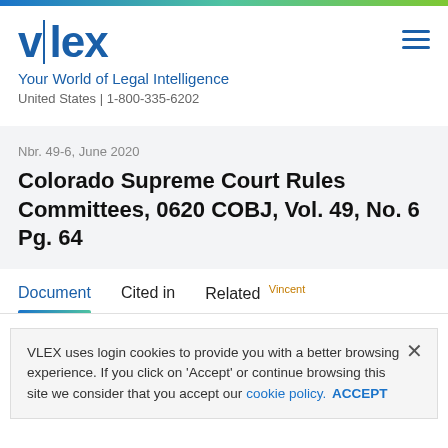[Figure (logo): vlex logo with vertical pipe between v and lex, blue color]
Your World of Legal Intelligence
United States | 1-800-335-6202
Nbr. 49-6, June 2020
Colorado Supreme Court Rules Committees, 0620 COBJ, Vol. 49, No. 6 Pg. 64
Document   Cited in   Related Vincent
VLEX uses login cookies to provide you with a better browsing experience. If you click on 'Accept' or continue browsing this site we consider that you accept our cookie policy. ACCEPT